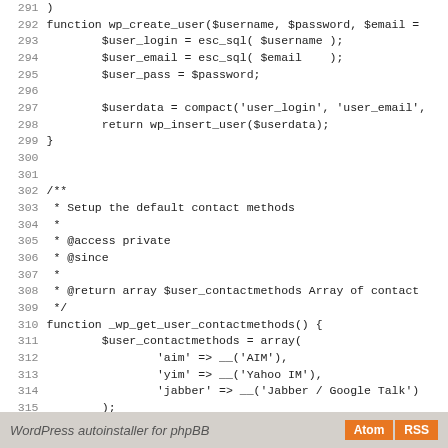[Figure (screenshot): Source code screenshot showing PHP lines 291-319 of a WordPress user functions file, including wp_create_user function and _wp_get_user_contactmethods function with inline documentation comments.]
WordPress autoinstaller for phpBB   Atom   RSS